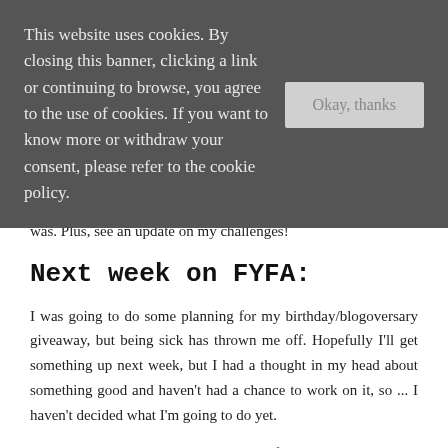This website uses cookies. By closing this banner, clicking a link or continuing to browse, you agree to the use of cookies. If you want to know more or withdraw your consent, please refer to the cookie policy.
Okay, thanks
was. Plus, see an update on my challenges!
Next week on FYFA:
I was going to do some planning for my birthday/blogoversary giveaway, but being sick has thrown me off. Hopefully I'll get something up next week, but I had a thought in my head about something good and haven't had a chance to work on it, so ... I haven't decided what I'm going to do yet.
By Your Side and The Fill-In Boyfriend by Kasie West – Review (I know I said I'd do this last week, but ... my bed